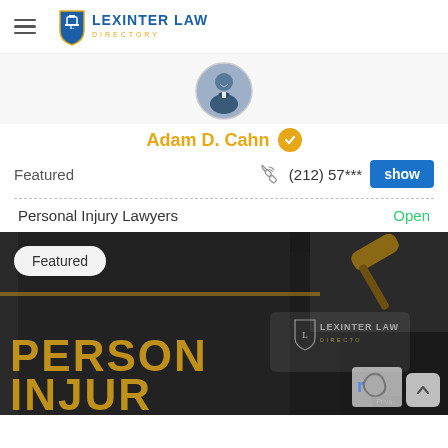Lexinter Law Directory
[Figure (photo): Circular profile photo of Adam D. Cahn, a lawyer in a suit]
Adam D. Cahn
Featured
(212) 57*** show
Personal Injury Lawyers
Open
[Figure (photo): Dark background image of a gavel and leather book with 'PERSONAL INJURY' text overlaid in gold letters. Lexinter Law Directory watermark in center-right. Featured badge in top-left corner.]